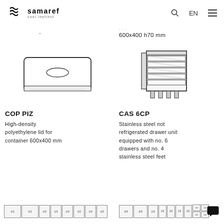Samaref – cool instinct | Search | EN | Menu
600x400 h70 mm
[Figure (illustration): High-density polyethylene lid for container 600x400 mm – flat rectangular lid with rounded corners and a small handle slot in center]
COP PIZ
High-density polyethylene lid for container 600x400 mm
[Figure (illustration): Stainless steel not refrigerated drawer unit with 6 drawers and 4 stainless steel feet]
CAS 6CP
Stainless steel not refrigerated drawer unit equipped with no. 6 drawers and no. 4 stainless steel feet
[Figure (schematic): Gastronorm tray capacity diagram showing 1/1, 1/1, 1/3, 1/3, 1/3, 1/3, 1/3, 1/3 configuration]
[Figure (schematic): Gastronorm tray capacity diagram showing 2/3, 2/3, 1/3, 1/3, 1/3, 1/3, 1/3, 1/6, 1/6 configuration]